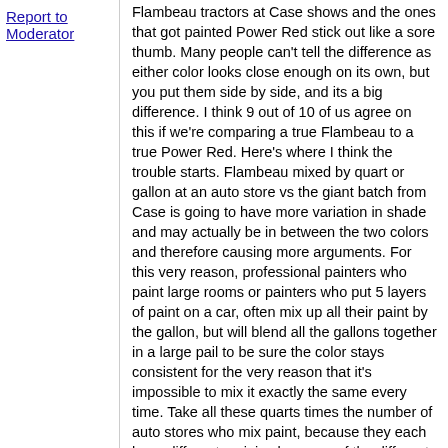Report to Moderator
Flambeau tractors at Case shows and the ones that got painted Power Red stick out like a sore thumb. Many people can't tell the difference as either color looks close enough on its own, but you put them side by side, and its a big difference. I think 9 out of 10 of us agree on this if we're comparing a true Flambeau to a true Power Red. Here's where I think the trouble starts. Flambeau mixed by quart or gallon at an auto store vs the giant batch from Case is going to have more variation in shade and may actually be in between the two colors and therefore causing more arguments. For this very reason, professional painters who paint large rooms or painters who put 5 layers of paint on a car, often mix up all their paint by the gallon, but will blend all the gallons together in a large pail to be sure the color stays consistent for the very reason that it's impossible to mix it exactly the same every time. Take all these quarts times the number of auto stores who mix paint, because they each have different recipies because of the different paint companies they use and again times the number of guys doing the measuring and mixing and you will end up with a lot of in between colors that we argue about. If done properly, the color results shouldn't vary much, yet it happens all the time. One analogy I like to use is how you can give 10 cooks the same